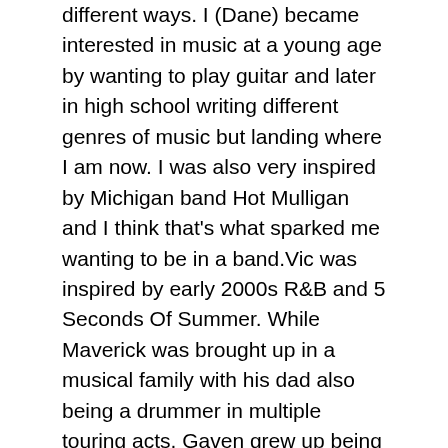different ways. I (Dane) became interested in music at a young age by wanting to play guitar and later in high school writing different genres of music but landing where I am now. I was also very inspired by Michigan band Hot Mulligan and I think that's what sparked me wanting to be in a band.Vic was inspired by early 2000s R&B and 5 Seconds Of Summer. While Maverick was brought up in a musical family with his dad also being a drummer in multiple touring acts. Gaven grew up being around various punk bands and being inspired by the likes of Glenn Danzig of the Misfits.
You've been working on new music and released your new EP recently. What can you tell me about the EP?
With this new ep we were actually able to write this together instead of one of us bringing a song to the